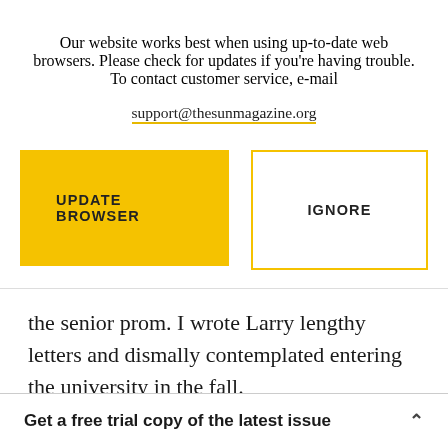Our website works best when using up-to-date web browsers. Please check for updates if you're having trouble. To contact customer service, e-mail support@thesunmagazine.org
[Figure (other): Two buttons: a filled yellow 'UPDATE BROWSER' button and an outlined yellow 'IGNORE' button]
the senior prom. I wrote Larry lengthy letters and dismally contemplated entering the university in the fall.
Seeing an opportunity, my father made one last
Get a free trial copy of the latest issue